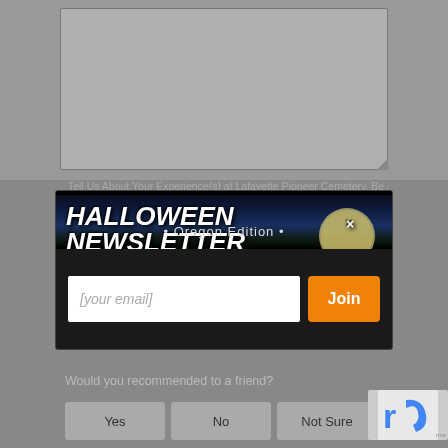[Figure (screenshot): Top portion of a web form with a gray textarea for describing experiences at Lafayette Pioneer Cemetery]
Tell Us About Your Experience(s) at Lafayette Pioneer Cemetery. Be specific
[Figure (infographic): Halloween Newsletter popup modal with dark spooky background, jack-o-lantern, haunted house, moon, and cemetery scene. Title reads HALLOWEEN NEWSLETTER with close X. Text: The scariest local attractions and Halloween news to your inbox all season long. Oregon Edition. Email input field and orange Join button.]
The scariest local attractions and Halloween news to your inbox all season long
• Oregon Edition •
[your email]
Join
Would you recommended to a friend?
Yes
No
Not Sure